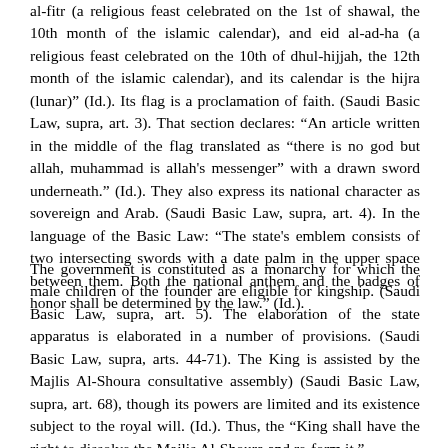al-fitr (a religious feast celebrated on the 1st of shawal, the 10th month of the islamic calendar), and eid al-ad-ha (a religious feast celebrated on the 10th of dhul-hijjah, the 12th month of the islamic calendar), and its calendar is the hijra (lunar)" (Id.). Its flag is a proclamation of faith. (Saudi Basic Law, supra, art. 3). That section declares: “An article written in the middle of the flag translated as "there is no god but allah, muhammad is allah's messenger" with a drawn sword underneath.” (Id.). They also express its national character as sovereign and Arab. (Saudi Basic Law, supra, art. 4). In the language of the Basic Law: “The state's emblem consists of two intersecting swords with a date palm in the upper space between them. Both the national anthem and the badges of honor shall be determined by the law.” (Id.).
The government is constituted as a monarchy for which the male children of the founder are eligible for kingship. (Saudi Basic Law, supra, art. 5). The elaboration of the state apparatus is elaborated in a number of provisions. (Saudi Basic Law, supra, arts. 44-71). The King is assisted by the Majlis Al-Shoura consultative assembly) (Saudi Basic Law, supra, art. 68), though its powers are limited and its existence subject to the royal will. (Id.). Thus, the “King shall have the right to dissolve the Majlis Al-Shoura and re-form it.”